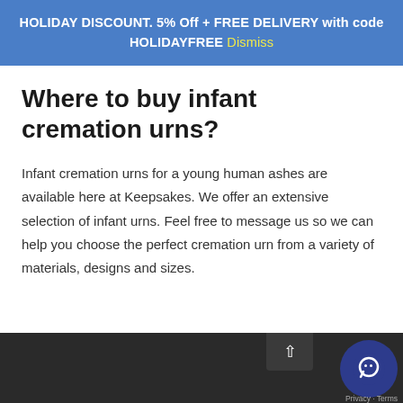HOLIDAY DISCOUNT. 5% Off + FREE DELIVERY with code HOLIDAYFREE Dismiss
Where to buy infant cremation urns?
Infant cremation urns for a young human ashes are available here at Keepsakes. We offer an extensive selection of infant urns. Feel free to message us so we can help you choose the perfect cremation urn from a variety of materials, designs and sizes.
Privacy · Terms